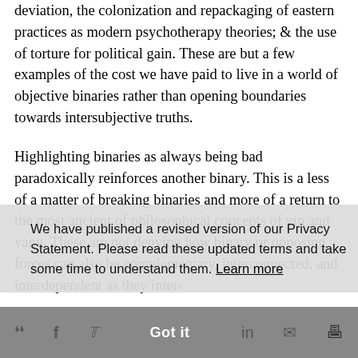deviation, the colonization and repackaging of eastern practices as modern psychotherapy theories; & the use of torture for political gain. These are but a few examples of the cost we have paid to live in a world of objective binaries rather than opening boundaries towards intersubjective truths.
Highlighting binaries as always being bad paradoxically reinforces another binary. This is a less of a matter of breaking binaries and more of a return to the most ancient of philosophical concepts of yin and yang. These are not denying how binary or opposing forces can also be complementary, interconnected, and interdependent as they inter-
We have published a revised version of our Privacy Statement. Please read these updated terms and take some time to understand them. Learn more
Got it